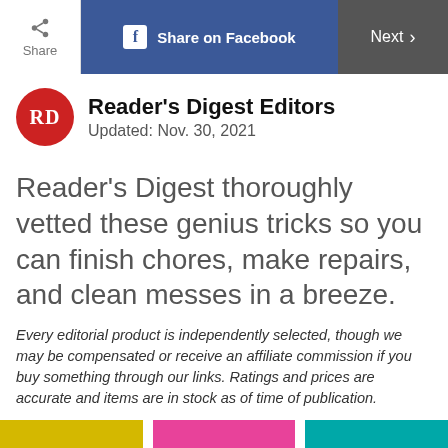Share | Share on Facebook | Next
Reader's Digest Editors
Updated: Nov. 30, 2021
Reader’s Digest thoroughly vetted these genius tricks so you can finish chores, make repairs, and clean messes in a breeze.
Every editorial product is independently selected, though we may be compensated or receive an affiliate commission if you buy something through our links. Ratings and prices are accurate and items are in stock as of time of publication.